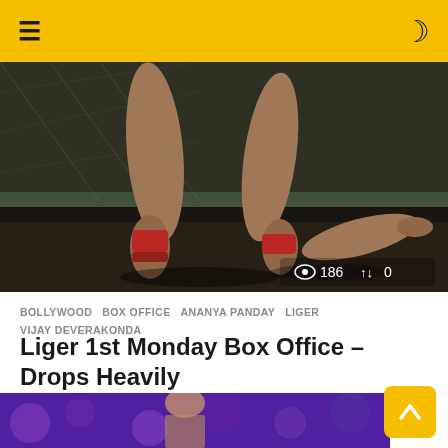Navigation bar with hamburger menu and dark mode toggle
[Figure (photo): Close-up photo of a fighter/athlete's legs in a fighting stance in a cage/ring, wearing red ankle wraps. MMA/boxing themed image for Liger movie promotion.]
186  0
BOLLYWOOD  BOX OFFICE  ANANYA PANDAY  LIGER  VIJAY DEVERAKONDA
Liger 1st Monday Box Office – Drops Heavily
₹223.15 ▲
by Ketan
[Figure (photo): Bottom strip showing partial image, appears to be a person/celebrity on a colorful purple/violet background.]